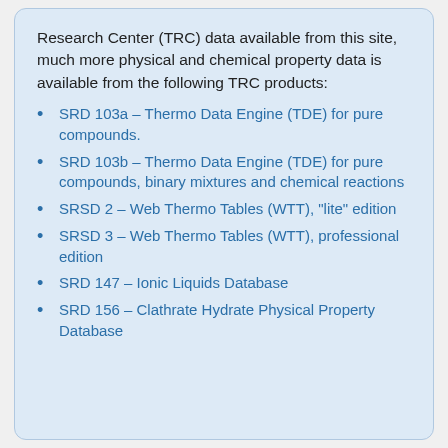Research Center (TRC) data available from this site, much more physical and chemical property data is available from the following TRC products:
SRD 103a – Thermo Data Engine (TDE) for pure compounds.
SRD 103b – Thermo Data Engine (TDE) for pure compounds, binary mixtures and chemical reactions
SRSD 2 – Web Thermo Tables (WTT), "lite" edition
SRSD 3 – Web Thermo Tables (WTT), professional edition
SRD 147 – Ionic Liquids Database
SRD 156 – Clathrate Hydrate Physical Property Database